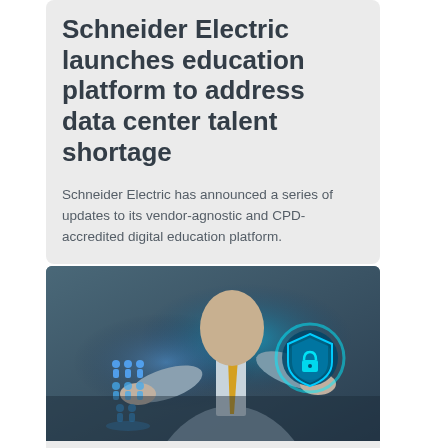Schneider Electric launches education platform to address data center talent shortage
Schneider Electric has announced a series of updates to its vendor-agnostic and CPD-accredited digital education platform.
[Figure (photo): A businessman in a suit holding a glowing blue shield with padlock icon in one hand and a group of blue human figure icons in the other, representing cybersecurity and people management.]
ARTIFICIAL INTELLIGENCE